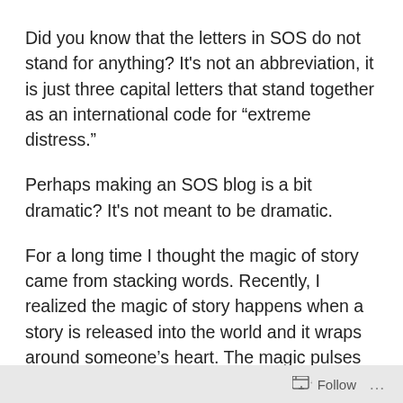Did you know that the letters in SOS do not stand for anything? It's not an abbreviation, it is just three capital letters that stand together as an international code for “extreme distress.”
Perhaps making an SOS blog is a bit dramatic? It's not meant to be dramatic.
For a long time I thought the magic of story came from stacking words. Recently, I realized the magic of story happens when a story is released into the world and it wraps around someone’s heart. The magic pulses when that someone lets the writer know the story mattered.
It used to only happen to writers with books, or to
Follow ...